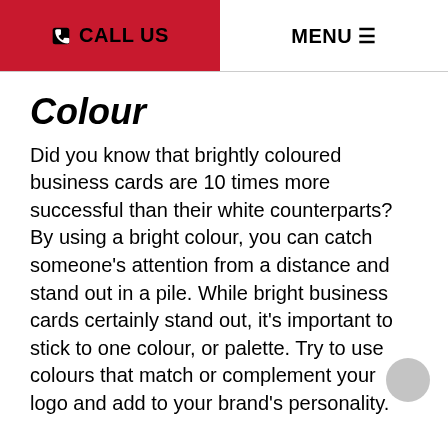CALL US | MENU
Colour
Did you know that brightly coloured business cards are 10 times more successful than their white counterparts? By using a bright colour, you can catch someone's attention from a distance and stand out in a pile. While bright business cards certainly stand out, it's important to stick to one colour, or palette. Try to use colours that match or complement your logo and add to your brand's personality.
Texture
Sometimes a unique texture can help you stand out from the crowd. While standard cardstock is the go-to material, there are a range of textures that you